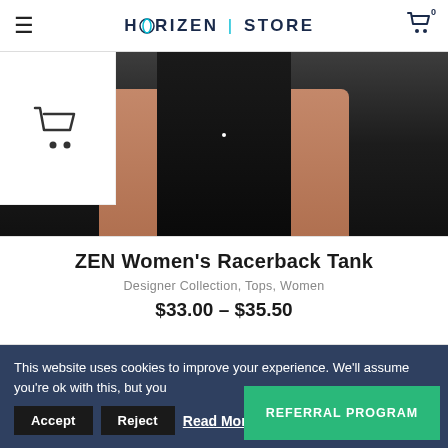HORIZEN | STORE
[Figure (photo): Bottom half of a person wearing a dark grey/black tank top and black pants, cropped mid-torso, product photo for ZEN Women's Racerback Tank]
[Figure (illustration): Shopping cart icon overlay on white background box]
ZEN Women's Racerback Tank
Designer Collection, Tops, Women
$33.00 – $35.50
[Figure (photo): Top portion of a person's head and neck wearing a dark top, product photo]
This website uses cookies to improve your experience. We'll assume you're ok with this, but you
Accept
Reject
Read More
REFERRAL PROGRAM